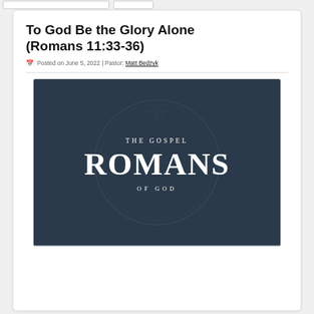To God Be the Glory Alone (Romans 11:33-36)
Posted on June 5, 2022 | Pastor: Matt Bedzyk
[Figure (illustration): Dark blue/slate book cover style image with embossed circular design in background. Text reads: THE GOSPEL (small caps, top center), ROMANS (large bold serif, center), OF GOD (small caps, bottom center).]